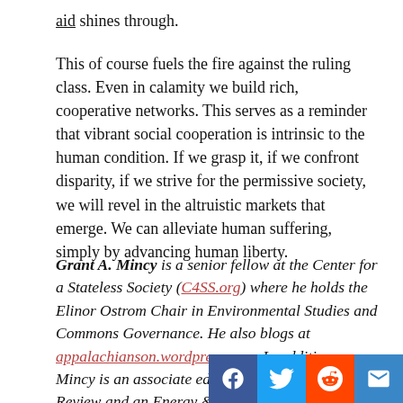aid shines through.
This of course fuels the fire against the ruling class. Even in calamity we build rich, cooperative networks. This serves as a reminder that vibrant social cooperation is intrinsic to the human condition. If we grasp it, if we confront disparity, if we strive for the permissive society, we will revel in the altruistic markets that emerge. We can alleviate human suffering, simply by advancing human liberty.
Grant A. Mincy is a senior fellow at the Center for a Stateless Society (C4SS.org) where he holds the Elinor Ostrom Chair in Environmental Studies and Commons Governance. He also blogs at appalachianson.wordpress.com. In addition, Mincy is an associate editor of the Molinari Review and an Energy & Environment Advisory Council Member for the Our America Initiative. He earned his Masters degree in Earth and Planetary Science from the University of Tennessee in the summer of 2012. He lives in Knoxville, Tennessee